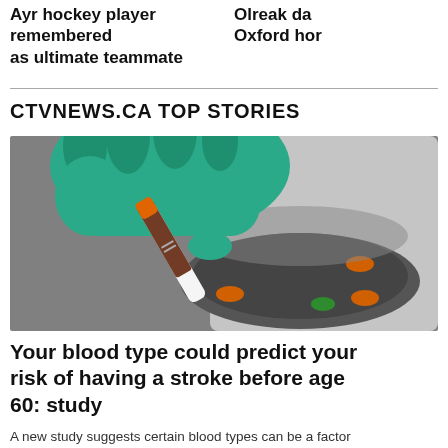Ayr hockey player remembered as ultimate teammate
Olreak da Oxford hor
CTVNEWS.CA TOP STORIES
[Figure (photo): A gloved hand holding a blood sample vial being placed into a centrifuge machine with orange and green tube holders visible.]
Your blood type could predict your risk of having a stroke before age 60: study
A new study suggests certain blood types can be a factor